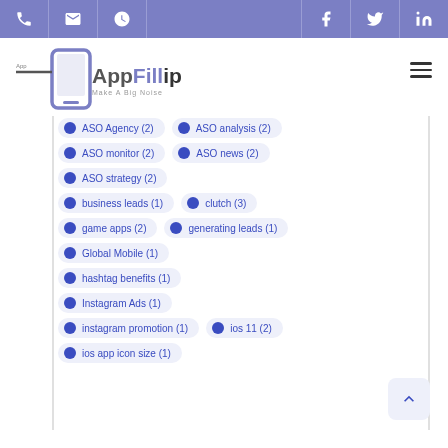AppFillip navigation header with phone, mail, clock, facebook, twitter, linkedin icons
[Figure (logo): AppFillip logo with smartphone icon and tagline Make A Big Noise]
ASO Agency (2)
ASO analysis (2)
ASO monitor (2)
ASO news (2)
ASO strategy (2)
business leads (1)
clutch (3)
game apps (2)
generating leads (1)
Global Mobile (1)
hashtag benefits (1)
Instagram Ads (1)
instagram promotion (1)
ios 11 (2)
ios app icon size (1)